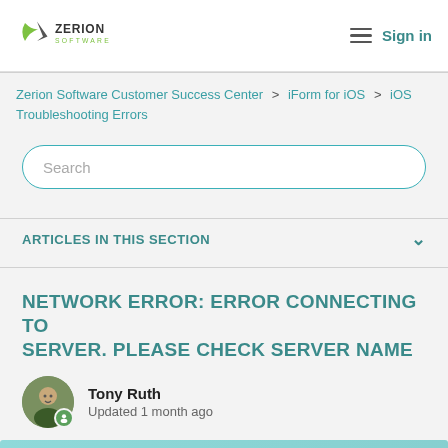Zerion Software — Sign in
Zerion Software Customer Success Center > iForm for iOS > iOS Troubleshooting Errors
Search
ARTICLES IN THIS SECTION
NETWORK ERROR: ERROR CONNECTING TO SERVER. PLEASE CHECK SERVER NAME
Tony Ruth
Updated 1 month ago